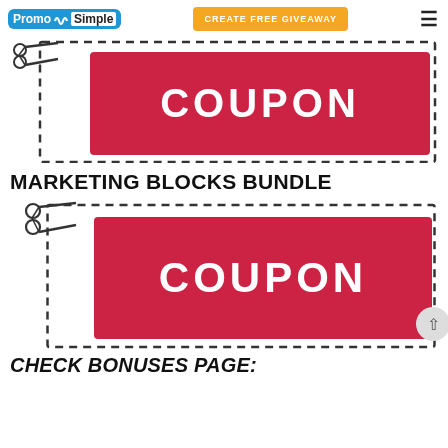PromoSimple | CREATE FREE GIVEAWAY
[Figure (illustration): A red coupon graphic with dashed border and scissors icon, with bold white text COUPON]
MARKETING BLOCKS BUNDLE
[Figure (illustration): A second red coupon graphic with dashed border and scissors icon, with bold white text COUPON]
CHECK BONUSES PAGE: